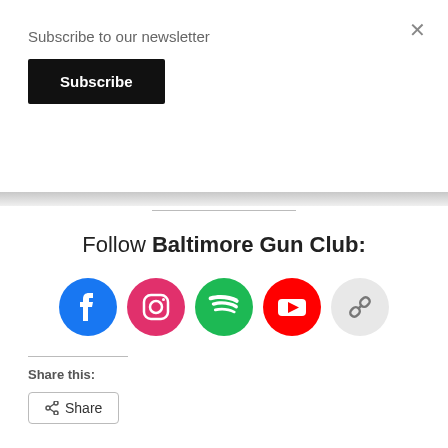Subscribe to our newsletter
Subscribe
Follow Baltimore Gun Club:
[Figure (infographic): Social media icons: Facebook (blue circle), Instagram (pink/magenta circle), Spotify (green circle), YouTube (red circle), Link (light gray circle)]
Share this:
Share